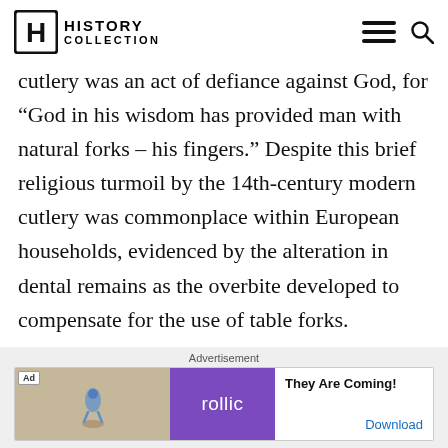HISTORY COLLECTION
cutlery was an act of defiance against God, for “God in his wisdom has provided man with natural forks – his fingers.” Despite this brief religious turmoil by the 14th-century modern cutlery was commonplace within European households, evidenced by the alteration in dental remains as the overbite developed to compensate for the use of table forks.
Advertisement
[Figure (other): Ad banner for Rollic game app with text 'They Are Coming!' and a Download link]